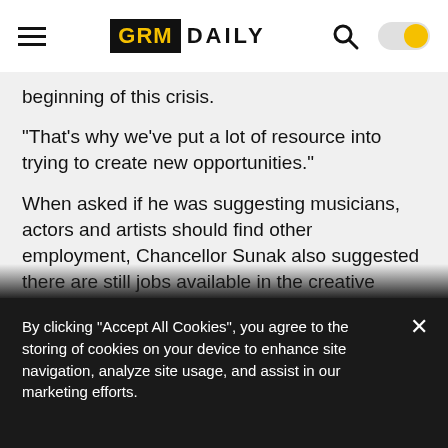GRM DAILY
beginning of this crisis.
“That’s why we’ve put a lot of resource into trying to create new opportunities.”
When asked if he was suggesting musicians, actors and artists should find other employment, Chancellor Sunak also suggested there are still jobs available in the creative industry, and said “as in all walks of life everyone’s having to adapt”.
He added: “Can things happen in exactly the way they did? No. But everyone is having to find ways to
By clicking “Accept All Cookies”, you agree to the storing of cookies on your device to enhance site navigation, analyze site usage, and assist in our marketing efforts.